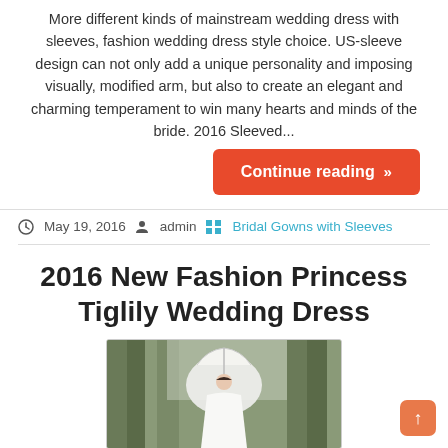More different kinds of mainstream wedding dress with sleeves, fashion wedding dress style choice. US-sleeve design can not only add a unique personality and imposing visually, modified arm, but also to create an elegant and charming temperament to win many hearts and minds of the bride. 2016 Sleeved...
Continue reading »
May 19, 2016   admin   Bridal Gowns with Sleeves
2016 New Fashion Princess Tiglily Wedding Dress
[Figure (photo): A bride in a white wedding dress holding a white lace parasol umbrella, standing outdoors among trees in a forest setting.]